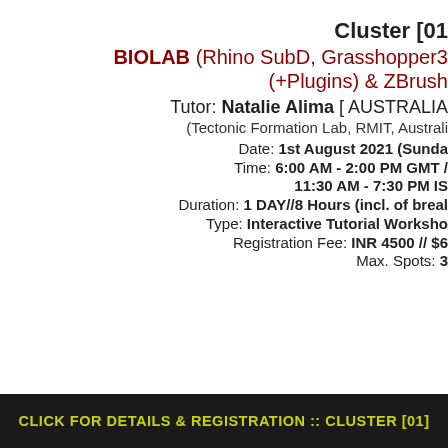Cluster [01
BIOLAB (Rhino SubD, Grasshopper3 (+Plugins) & ZBrush
Tutor: Natalie Alima [ AUSTRALIA
(Tectonic Formation Lab, RMIT, Australi
Date: 1st August 2021 (Sunda
Time: 6:00 AM - 2:00 PM GMT / 11:30 AM - 7:30 PM IS
Duration: 1 DAY//8 Hours (incl. of brea
Type: Interactive Tutorial Worksh
Registration Fee: INR 4500 // $6
Max. Spots: 3
CLICK FOR DETAILS & REGISTRATION :: CLUSTER [01]